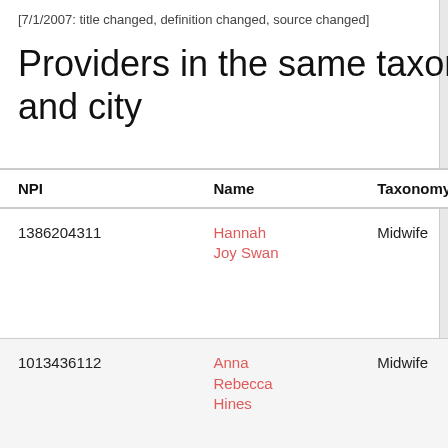[7/1/2007: title changed, definition changed, source changed]
Providers in the same taxonomy and city
| NPI | Name | Taxonomy | Address | Enumera... |
| --- | --- | --- | --- | --- |
| 1386204311 | Hannah Joy Swan | Midwife | 761 Sw Washington St, Dallas, OR 97338-3413 | 2019-06-2... |
| 1013436112 | Anna Rebecca Hines | Midwife | 4720 Gaston Ave, Dallas, TX 75246-1014 | 2017-09-1... |
| 1992155535 | Lori Jane Hedlund | Midwife | 1775 E Ellendale Ave, Dallas, OR 97338-1726 | 2016-06-1... |